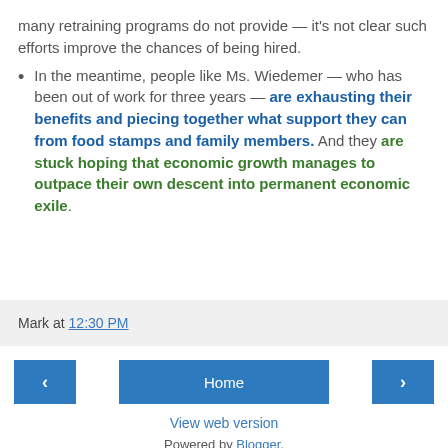many retraining programs do not provide — it's not clear such efforts improve the chances of being hired.
In the meantime, people like Ms. Wiedemer — who has been out of work for three years — are exhausting their benefits and piecing together what support they can from food stamps and family members. And they are stuck hoping that economic growth manages to outpace their own descent into permanent economic exile.
Mark at 12:30 PM
Home
View web version
Powered by Blogger.